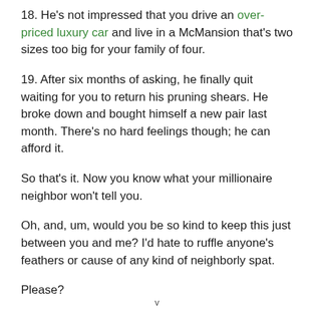18. He's not impressed that you drive an over-priced luxury car and live in a McMansion that's two sizes too big for your family of four.
19. After six months of asking, he finally quit waiting for you to return his pruning shears. He broke down and bought himself a new pair last month. There's no hard feelings though; he can afford it.
So that's it. Now you know what your millionaire neighbor won't tell you.
Oh, and, um, would you be so kind to keep this just between you and me? I'd hate to ruffle anyone's feathers or cause of any kind of neighborly spat.
Please?
v